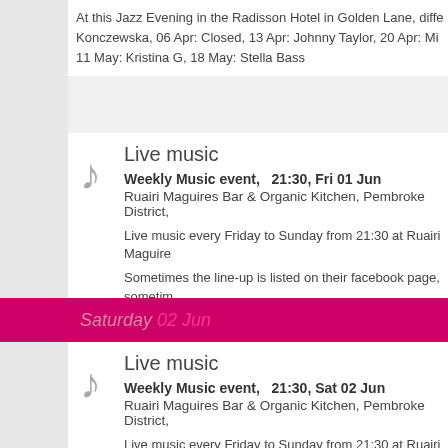At this Jazz Evening in the Radisson Hotel in Golden Lane, diffe Konczewska, 06 Apr: Closed, 13 Apr: Johnny Taylor, 20 Apr: Mi 11 May: Kristina G, 18 May: Stella Bass
Live music
Weekly Music event,   21:30, Fri 01 Jun
Ruairi Maguires Bar & Organic Kitchen, Pembroke District,
Live music every Friday to Sunday from 21:30 at Ruairi Maguire
Sometimes the line-up is listed on their facebook page, sometim
www.facebook.com/profile.php?id=100000462805646&sk=
Saturday  02 Jun
Live music
Weekly Music event,   21:30, Sat 02 Jun
Ruairi Maguires Bar & Organic Kitchen, Pembroke District,
Live music every Friday to Sunday from 21:30 at Ruairi Maguire
Sometimes the line-up is listed on their facebook page, sometim
www.facebook.com/profile.php?id=100000462805646&sk=